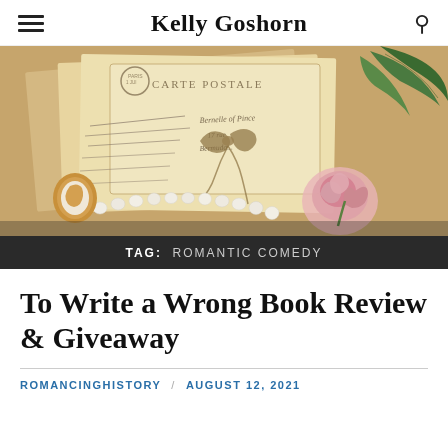Kelly Goshorn
[Figure (photo): Vintage postcards tied with twine, a pink rose, green leaves, pearl necklace, and cameo brooch arranged on a textured beige background]
TAG: ROMANTIC COMEDY
To Write a Wrong Book Review & Giveaway
ROMANCINGHISTORY / AUGUST 12, 2021